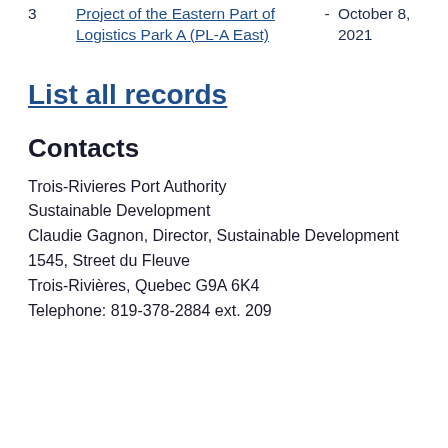| # | Project | - | Date |
| --- | --- | --- | --- |
| 3 | Project of the Eastern Part of Logistics Park A (PL-A East) | - | October 8, 2021 |
List all records
Contacts
Trois-Rivieres Port Authority
Sustainable Development
Claudie Gagnon, Director, Sustainable Development
1545, Street du Fleuve
Trois-Rivières, Quebec G9A 6K4
Telephone: 819-378-2884 ext. 209